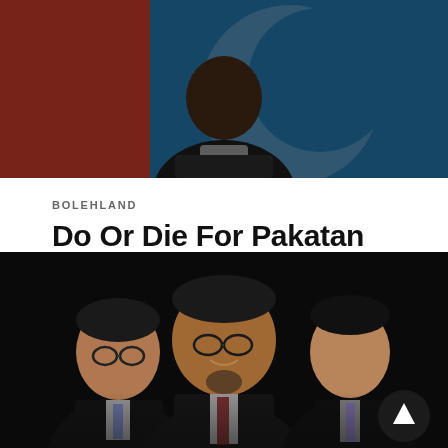[Figure (photo): Photo of a person in front of a blue and red flag background with a crescent/moon symbol]
BOLEHLAND
Do Or Die For Pakatan Rakyat
Vince explains why we must stand with Anwar Ibrahim.
9 years ago
[Figure (photo): Photo of three men in suits on a dark background — three Malaysian political figures]